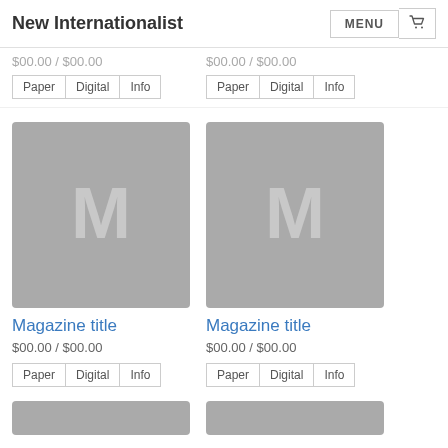New Internationalist
$00.00 / $00.00
$00.00 / $00.00
Paper | Digital | Info
Paper | Digital | Info
[Figure (illustration): Placeholder magazine cover image with letter M on grey background]
Magazine title
$00.00 / $00.00
Paper | Digital | Info
[Figure (illustration): Placeholder magazine cover image with letter M on grey background]
Magazine title
$00.00 / $00.00
Paper | Digital | Info
[Figure (illustration): Partial placeholder magazine cover image at bottom, cut off]
[Figure (illustration): Partial placeholder magazine cover image at bottom, cut off]